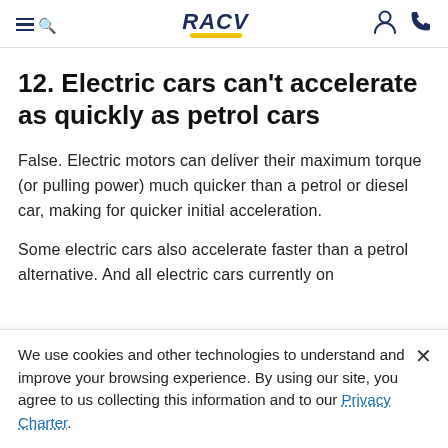RACV
12. Electric cars can't accelerate as quickly as petrol cars
False. Electric motors can deliver their maximum torque (or pulling power) much quicker than a petrol or diesel car, making for quicker initial acceleration.
Some electric cars also accelerate faster than a petrol alternative. And all electric cars currently on
We use cookies and other technologies to understand and improve your browsing experience. By using our site, you agree to us collecting this information and to our Privacy Charter.